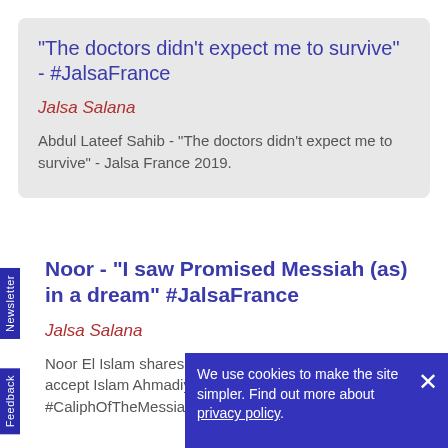"The doctors didn't expect me to survive" - #JalsaFrance
Jalsa Salana
Abdul Lateef Sahib - "The doctors didn't expect me to survive" - Jalsa France 2019.
Noor - "I saw Promised Messiah (as) in a dream" #JalsaFrance
Jalsa Salana
Noor El Islam shares how he and his father came to accept Islam Ahmadiyyat. #JalsaFrance #CaliphOfTheMessiah #EuropeT
We use cookies to make the site simpler. Find out more about privacy policy.